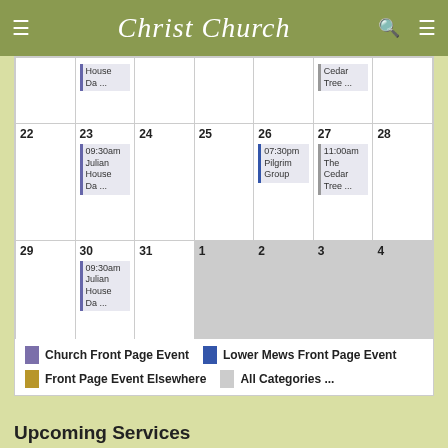Christ Church
[Figure (other): Calendar view showing dates 22-31 and 1-4, with events: Julian House Da... on 23, 30; Pilgrim Group 07:30pm on 26; The Cedar Tree... 11:00am on 27; Cedar Tree... on 27 (partial row); House Da... on 23 (partial row). Legend shows Church Front Page Event, Lower Mews Front Page Event, Front Page Event Elsewhere, All Categories...]
Upcoming Services